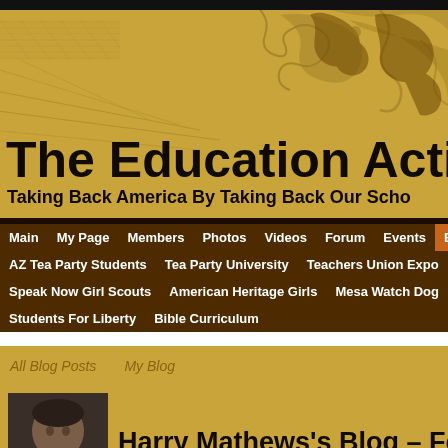[Figure (illustration): Decorative banner background with golden/amber color featuring ornate scroll designs and geometric line drawings]
The Education Actio
Taking Back America By Taking Back Our Scho
Main | My Page | Members | Photos | Videos | Forum | Events | Bl
AZ Tea Party Students | Tea Party University | Teachers Union Expo
Speak Now Girl Scouts | American Heritage Girls | Mesa Watch Dog
Students For Liberty | Bible Curriculum
All Blog Posts    My Blog
[Figure (photo): Headshot photo of Harry Mathews, a man in business attire]
Harry Mathews's Blog – Februa